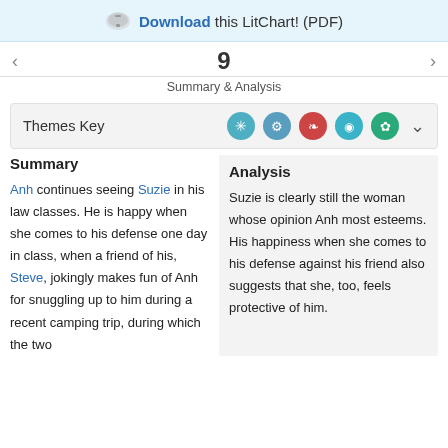Download this LitChart! (PDF)
Summary & Analysis
Themes Key
Summary
Analysis
Anh continues seeing Suzie in his law classes. He is happy when she comes to his defense one day in class, when a friend of his, Steve, jokingly makes fun of Anh for snuggling up to him during a recent camping trip, during which the two
Suzie is clearly still the woman whose opinion Anh most esteems. His happiness when she comes to his defense against his friend also suggests that she, too, feels protective of him.